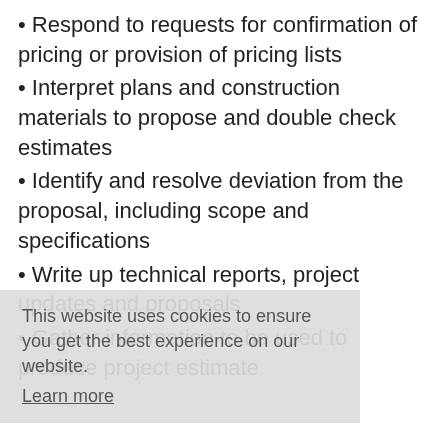• Respond to requests for confirmation of pricing or provision of pricing lists
• Interpret plans and construction materials to propose and double check estimates
• Identify and resolve deviation from the proposal, including scope and specifications
• Write up technical reports, project updates and proposals
• Gather information to be used to produce project estimate
Skills and Qualifications
• The candidate should be skilled in interpreting architect plans and have an in-depth knowledge of pricing administration
• Good knowledge of the Microsoft Office suites